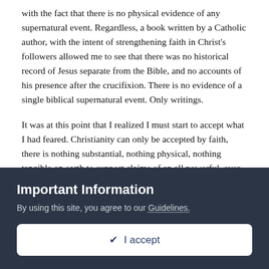with the fact that there is no physical evidence of any supernatural event. Regardless, a book written by a Catholic author, with the intent of strengthening faith in Christ's followers allowed me to see that there was no historical record of Jesus separate from the Bible, and no accounts of his presence after the crucifixion. There is no evidence of a single biblical supernatural event. Only writings.
It was at this point that I realized I must start to accept what I had feared. Christianity can only be accepted by faith, there is nothing substantial, nothing physical, nothing tangible on earth to support claims of an all powerful, ever present, all knowing being who manifested himself in the form of a man, died, rose again and regularly intervenes on our behalf as he sees fit. Christianity was no better than any other faith. It was just another set of stories put together by the ancient Israelites. If it
Important Information
By using this site, you agree to our Guidelines.
✔ I accept